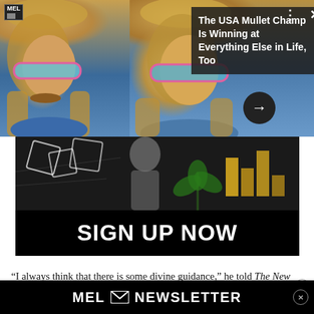[Figure (screenshot): A notification or article card from MEL magazine showing two photos of a man with a mullet and colorful sunglasses, with overlay text 'The USA Mullet Champ Is Winning at Everything Else in Life, Too' and an arrow button. Three-dot menu and X close button visible.]
[Figure (photo): Newsletter signup banner with dark collage background (geometric shapes, cannabis leaf, gold bars) and large bold white text 'SIGN UP NOW' on black background.]
“I always think that there is some divine guidance,” he told The New York Times in 2003. “There are 10 actors that can play every role.
[Figure (screenshot): MEL newsletter signup bar at the bottom of the page showing 'MEL NEWSLETTER' in white text on black background with an envelope icon and an X close button.]